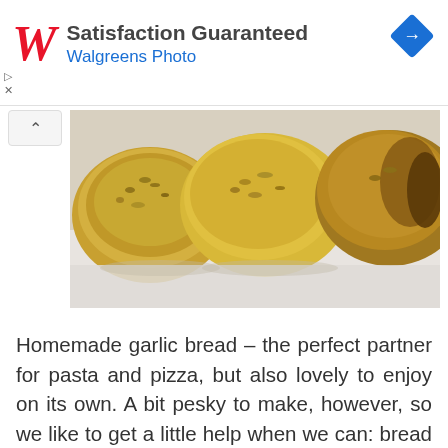[Figure (logo): Walgreens ad banner with red cursive W logo, text 'Satisfaction Guaranteed' and 'Walgreens Photo' in blue, and a blue navigation diamond icon on the right]
[Figure (photo): Close-up photo of homemade garlic bread slices topped with herbs and garlic, showing golden-brown toasted tops, arranged on a white surface]
Homemade garlic bread – the perfect partner for pasta and pizza, but also lovely to enjoy on its own. A bit pesky to make, however, so we like to get a little help when we can: bread machine garlic